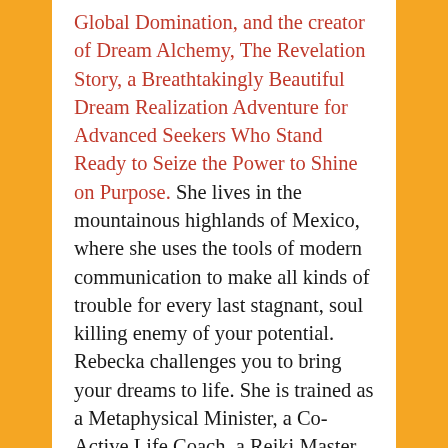Global Domination, and the creator of Dream Alchemy, The Revelation Story, a Breathtakingly Beautiful Dream Realization Adventure for Advanced Seekers Who Stand Ready to Seize the Power to Shine on Purpose. She lives in the mountainous highlands of Mexico, where she uses the tools of modern communication to make all kinds of trouble for every last stagnant, soul killing enemy of your potential. Rebecka challenges you to bring your dreams to life. She is trained as a Metaphysical Minister, a Co-Active Life Coach, a Reiki Master, and a tax lawyer (probably weren't expecting that last part, eh?). Finally, Rebecka holds a certificate in Digital Marketing through Emeritus and Columbia University, awarded with distinction in 2017. You can support